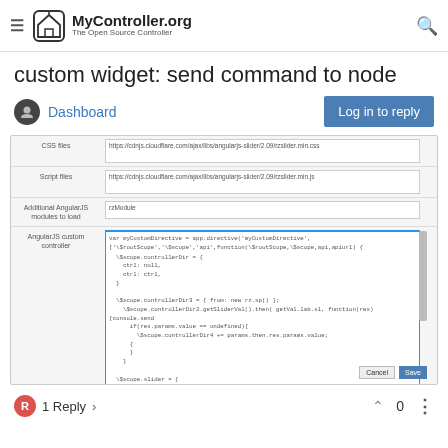MyController.org - The Open Source Controller
custom widget: send command to node
Dashboard
[Figure (screenshot): Screenshot of a web form with fields: CSS files, Script files, Additional AngularJS modules to load, AngularJS custom controller, showing code editor with JavaScript content and Cancel/Save buttons]
1 Reply > 0